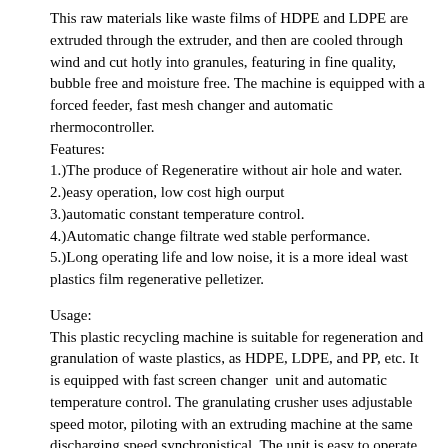This raw materials like waste films of HDPE and LDPE are extruded through the extruder, and then are cooled through wind and cut hotly into granules, featuring in fine quality, bubble free and moisture free. The machine is equipped with a forced feeder, fast mesh changer and automatic rhermocontroller.
Features:
1.)The produce of Regeneratire without air hole and water.
2.)easy operation, low cost high ourput
3.)automatic constant temperature control.
4.)Automatic change filtrate wed stable performance.
5.)Long operating life and low noise, it is a more ideal wast plastics film regenerative pelletizer.
Usage:
This plastic recycling machine is suitable for regeneration and granulation of waste plastics, as HDPE, LDPE, and PP, etc. It is equipped with fast screen changer  unit and automatic temperature control. The granulating crusher uses adjustable speed motor, piloting with an extruding machine at the same discharging speed synchronistical. The unit is easy to operate, With a high output, steady performance, and favorable economic benefit.